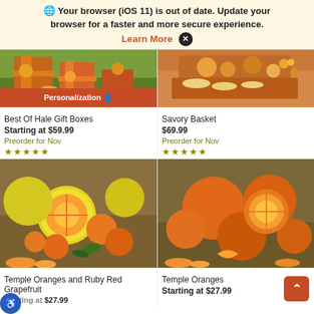Your browser (iOS 11) is out of date. Update your browser for a faster and more secure experience. Learn More ✕
[Figure (photo): Gift boxes with fruits arrangement - top portion visible, with orange Personalization bar]
Best Of Hale Gift Boxes
Starting at $59.99
Preorder for Nov
★★★★★
[Figure (photo): Savory basket with crackers and cashews on cutting board - top portion visible]
Savory Basket
$69.99
Preorder for Nov
★★★★★
[Figure (photo): Temple oranges and ruby red grapefruits on wooden surface]
Temple Oranges and Ruby Red Grapefruit
Starting at $27.99
[Figure (photo): Temple oranges sliced on wooden surface]
Temple Oranges
Starting at $27.99